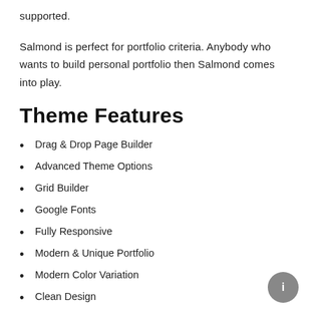supported.
Salmond is perfect for portfolio criteria. Anybody who wants to build personal portfolio then Salmond comes into play.
Theme Features
Drag & Drop Page Builder
Advanced Theme Options
Grid Builder
Google Fonts
Fully Responsive
Modern & Unique Portfolio
Modern Color Variation
Clean Design
One Click Deployment